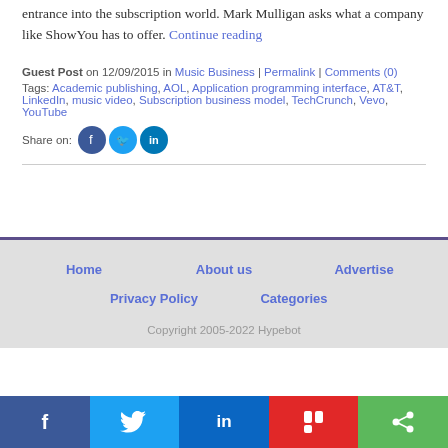entrance into the subscription world. Mark Mulligan asks what a company like ShowYou has to offer. Continue reading
Guest Post on 12/09/2015 in Music Business | Permalink | Comments (0)
Tags: Academic publishing, AOL, Application programming interface, AT&T, LinkedIn, music video, Subscription business model, TechCrunch, Vevo, YouTube
Share on: [Facebook] [Twitter] [LinkedIn]
Home  About us  Advertise  Privacy Policy  Categories  Copyright 2005-2022 Hypebot